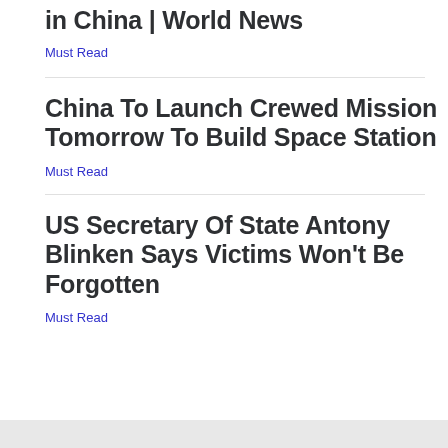in China | World News
Must Read
China To Launch Crewed Mission Tomorrow To Build Space Station
Must Read
US Secretary Of State Antony Blinken Says Victims Won't Be Forgotten
Must Read